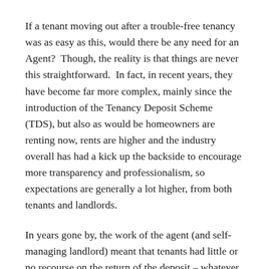If a tenant moving out after a trouble-free tenancy was as easy as this, would there be any need for an Agent?  Though, the reality is that things are never this straightforward.  In fact, in recent years, they have become far more complex, mainly since the introduction of the Tenancy Deposit Scheme (TDS), but also as would be homeowners are renting now, rents are higher and the industry overall has had a kick up the backside to encourage more transparency and professionalism, so expectations are generally a lot higher, from both tenants and landlords.
In years gone by, the work of the agent (and self-managing landlord) meant that tenants had little or no recourse on the return of the deposit – whatever we said… stuck.  Now we have situations of timescales, criteria, legislation, reporting, 3rd parties, adjudication, penalties and schemes.
Tenants have better and improved rights, deposits have to